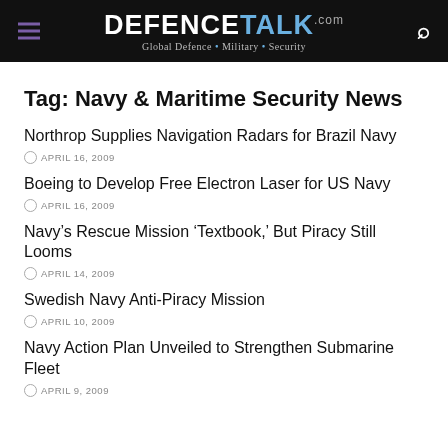DEFENCETALK.com — Global Defence • Military • Security
Tag: Navy & Maritime Security News
Northrop Supplies Navigation Radars for Brazil Navy
APRIL 16, 2009
Boeing to Develop Free Electron Laser for US Navy
APRIL 16, 2009
Navy's Rescue Mission 'Textbook,' But Piracy Still Looms
APRIL 14, 2009
Swedish Navy Anti-Piracy Mission
APRIL 10, 2009
Navy Action Plan Unveiled to Strengthen Submarine Fleet
APRIL 9, 2009